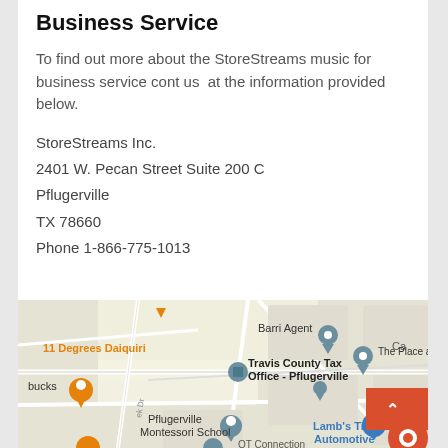Business Service
To find out more about the StoreStreams music for business service cont us  at the information provided below.
StoreStreams Inc.
2401 W. Pecan Street Suite 200 C
Pflugerville
TX 78660
Phone 1-866-775-1013
[Figure (screenshot): Google Maps screenshot showing Pflugerville area with markers for Travis County Tax Office - Pflugerville, Barri Agent, The Place at 1, 11 Degrees Daiquiri, Pflugerville Montessori School, Lamb's Tire & Automotive, and other locations.]